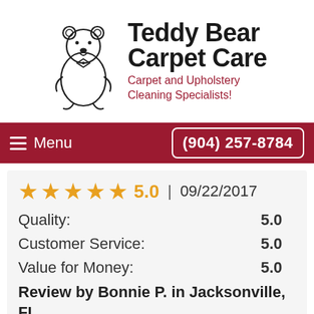[Figure (logo): Teddy Bear Carpet Care logo with a cartoon teddy bear wearing a bow tie and text 'Teddy Bear Carpet Care – Carpet and Upholstery Cleaning Specialists!']
Menu | (904) 257-8784
★★★★★  5.0  |  09/22/2017
Quality:  5.0
Customer Service:  5.0
Value for Money:  5.0
Review by Bonnie P. in Jacksonville, FL
Project: Clean Carpets or Rugs in a Home
Paul was very helpful and knowledgeable.